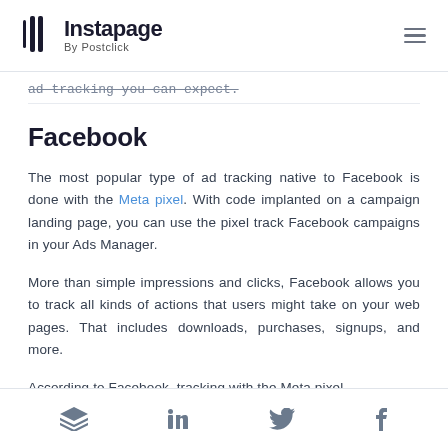Instapage By Postclick
ad tracking you can expect.
Facebook
The most popular type of ad tracking native to Facebook is done with the Meta pixel. With code implanted on a campaign landing page, you can use the pixel track Facebook campaigns in your Ads Manager.
More than simple impressions and clicks, Facebook allows you to track all kinds of actions that users might take on your web pages. That includes downloads, purchases, signups, and more.
According to Facebook, tracking with the Meta pixel
Social share icons: Buffer, LinkedIn, Twitter, Facebook